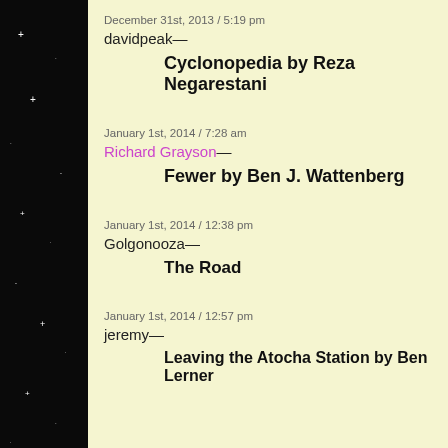December 31st, 2013 / 5:19 pm
davidpeak—
Cyclonopedia by Reza Negarestani
January 1st, 2014 / 7:28 am
Richard Grayson—
Fewer by Ben J. Wattenberg
January 1st, 2014 / 12:38 pm
Golgonooza—
The Road
January 1st, 2014 / 12:57 pm
jeremy—
Leaving the Atocha Station by Ben Lerner